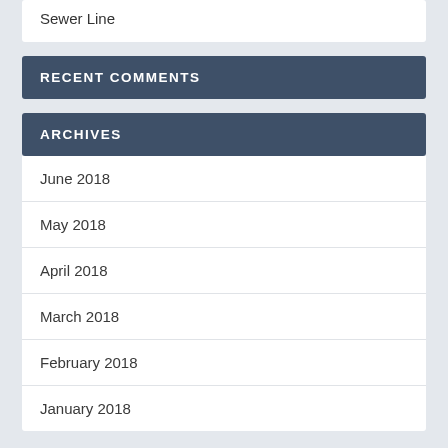Sewer Line
RECENT COMMENTS
ARCHIVES
June 2018
May 2018
April 2018
March 2018
February 2018
January 2018